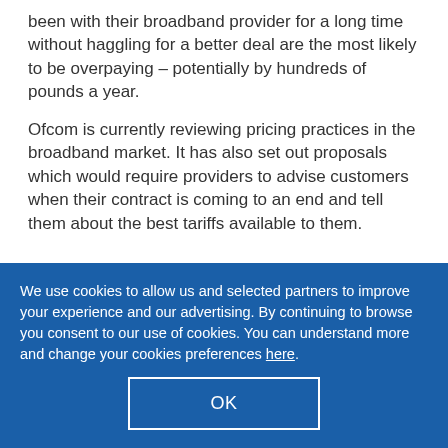been with their broadband provider for a long time without haggling for a better deal are the most likely to be overpaying – potentially by hundreds of pounds a year.
Ofcom is currently reviewing pricing practices in the broadband market. It has also set out proposals which would require providers to advise customers when their contract is coming to an end and tell them about the best tariffs available to them.
We use cookies to allow us and selected partners to improve your experience and our advertising. By continuing to browse you consent to our use of cookies. You can understand more and change your cookies preferences here.